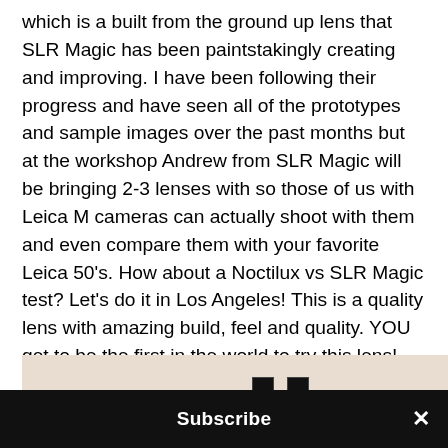which is a built from the ground up lens that SLR Magic has been paintstakingly creating and improving. I have been following their progress and have seen all of the prototypes and sample images over the past months but at the workshop Andrew from SLR Magic will be bringing 2-3 lenses with so those of us with Leica M cameras can actually shoot with them and even compare them with your favorite Leica 50's. How about a Noctilux vs SLR Magic test? Let's do it in Los Angeles! This is a quality lens with amazing build, feel and quality. YOU get to be the first in the world to try this lens!
[Figure (photo): Close-up photograph of a black camera lens (likely the SLR Magic lens being discussed) against a light beige/cream background. The lens shows multiple focusing rings with small notches/markings.]
Subscribe ×